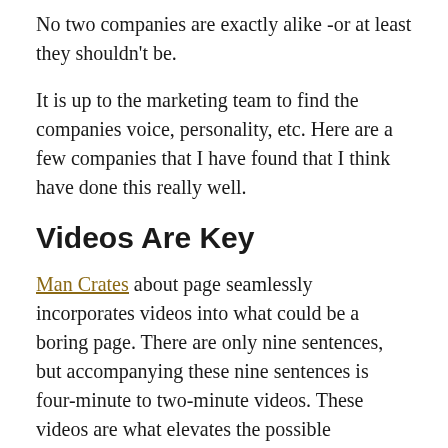No two companies are exactly alike -or at least they shouldn't be.
It is up to the marketing team to find the companies voice, personality, etc. Here are a few companies that I have found that I think have done this really well.
Videos Are Key
Man Crates about page seamlessly incorporates videos into what could be a boring page. There are only nine sentences, but accompanying these nine sentences is four-minute to two-minute videos. These videos are what elevates the possible customer's experience on the website, it makes it memorable and boosts their SEO (Search Engine...